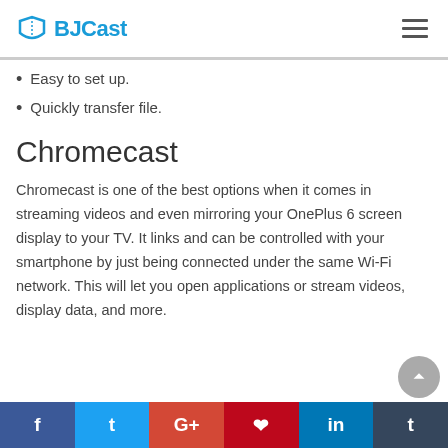BJCast
Easy to set up.
Quickly transfer file.
Chromecast
Chromecast is one of the best options when it comes in streaming videos and even mirroring your OnePlus 6 screen display to your TV. It links and can be controlled with your smartphone by just being connected under the same Wi-Fi network. This will let you open applications or stream videos, display data, and more.
f  t  G+  p  in  t